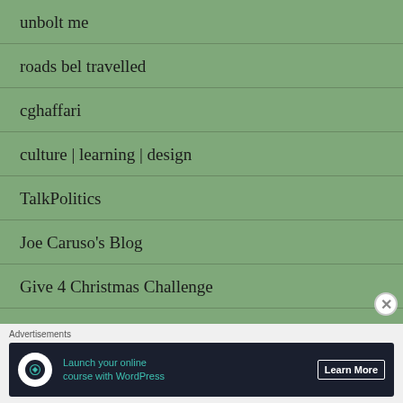unbolt me
roads bel travelled
cghaffari
culture | learning | design
TalkPolitics
Joe Caruso's Blog
Give 4 Christmas Challenge
My Site
Advertisements
[Figure (other): Advertisement banner: Launch your online course with WordPress. Learn More button.]